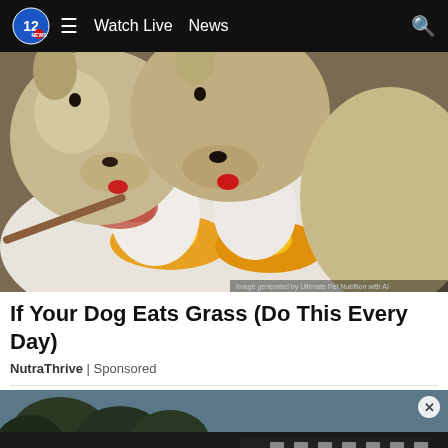12 ≡ Watch Live  News 🔍
[Figure (photo): Two golden-colored dogs/cats licking eggs (one broken with yolk) on a white plate, close-up overhead view. Watermark: 'Image generated by Ultimate Pet Nutrition with AI']
If Your Dog Eats Grass (Do This Every Day)
NutraThrive | Sponsored
[Figure (photo): Partial image of a dark building/truck with trees in the background, partially cut off at bottom of page. Has a close/X button overlay.]